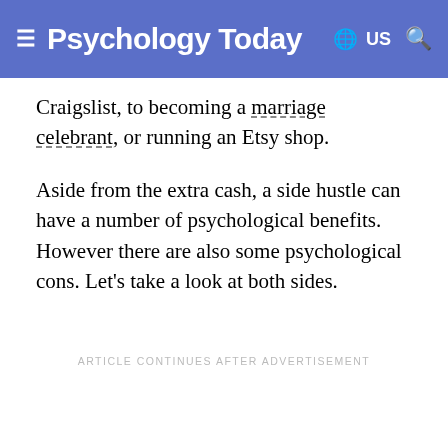Psychology Today — US
Craigslist, to becoming a marriage celebrant, or running an Etsy shop.
Aside from the extra cash, a side hustle can have a number of psychological benefits. However there are also some psychological cons. Let's take a look at both sides.
ARTICLE CONTINUES AFTER ADVERTISEMENT